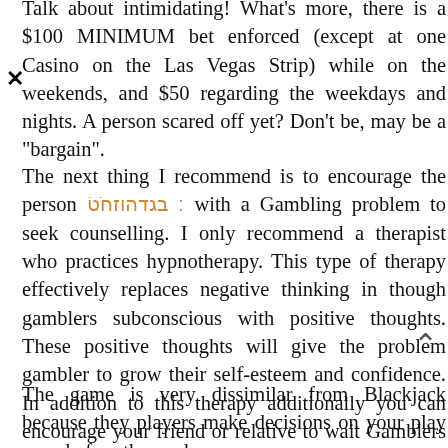Talk about intimidating! What's more, there is a $100 MINIMUM bet enforced (except at one Casino on the Las Vegas Strip) while on the weekends, and $50 regarding the weekdays and nights. A person scared off yet? Don't be, may be a "bargain".
The next thing I recommend is to encourage the person [link] with a Gambling problem to seek counselling. I only recommend a therapist who practices hypnotherapy. This type of therapy effectively replaces negative thinking in though gamblers subconscious with positive thoughts. These positive thoughts will give the problem gambler to grow their self-esteem and confidence. In addition to this therapy additionally you can encourage your friend or relative to wait Gamblers Anonymous meetings occasionally.
The game is very dissimilar from Blackjack because they players make decisions on your play even before the cards